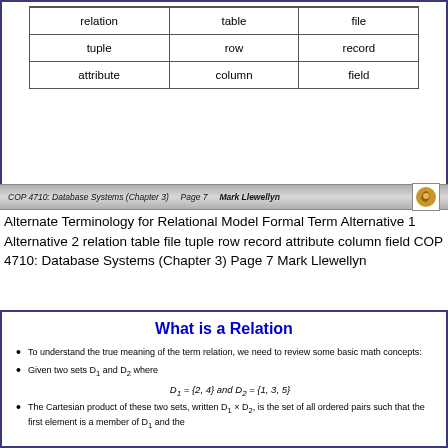| Formal Term | Alternative 1 | Alternative 2 |
| --- | --- | --- |
| relation | table | file |
| tuple | row | record |
| attribute | column | field |
COP 4710: Database Systems (Chapter 3)    Page 7    Mark Llewellyn
Alternate Terminology for Relational Model Formal Term Alternative 1 Alternative 2 relation table file tuple row record attribute column field COP 4710: Database Systems (Chapter 3) Page 7 Mark Llewellyn
What is a Relation
To understand the true meaning of the term relation, we need to review some basic math concepts:
Given two sets D₁ and D₂ where
The Cartesian product of these two sets, written D₁ × D₂, is the set of all ordered pairs such that the first element is a member of D₁ and the